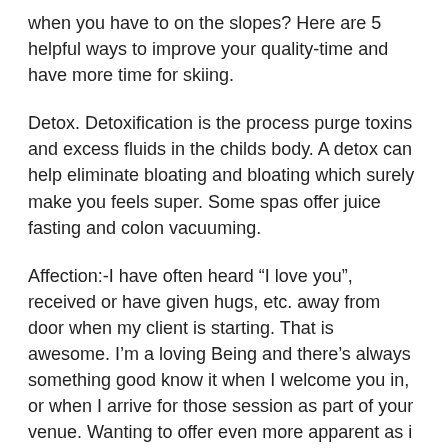when you have to on the slopes? Here are 5 helpful ways to improve your quality-time and have more time for skiing.
Detox. Detoxification is the process purge toxins and excess fluids in the childs body. A detox can help eliminate bloating and bloating which surely make you feels super. Some spas offer juice fasting and colon vacuuming.
Affection:-I have often heard “I love you”, received or have given hugs, etc. away from door when my client is starting. That is awesome. I’m a loving Being and there’s always something good know it when I welcome you in, or when I arrive for those session as part of your venue. Wanting to offer even more apparent as i massage your entire family. Keep in